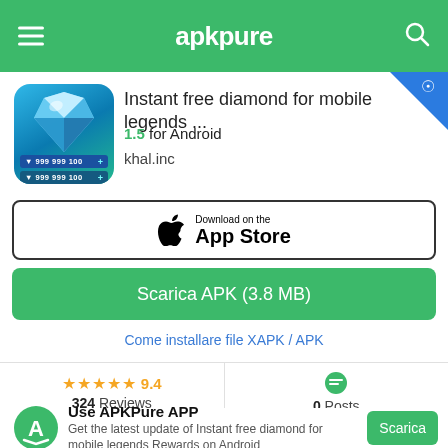apkpure
Instant free diamond for mobile legends ...
1.5 for Android
khal.inc
[Figure (screenshot): Download on the App Store button]
Scarica APK (3.8 MB)
Come installare file XAPK / APK
9.4  324 Reviews
0 Posts
Use APKPure APP
Get the latest update of Instant free diamond for mobile legends Rewards on Android
Scarica